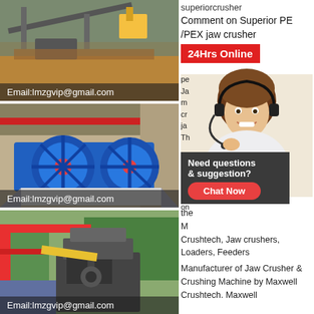[Figure (photo): Industrial mining/crushing site with conveyor belts and machinery, outdoor setting]
Email:lmzgvip@gmail.com
[Figure (photo): Large blue industrial washing/processing machine in a factory/warehouse]
Email:lmzgvip@gmail.com
[Figure (photo): Cone crusher or industrial crusher machine outdoors near a red gantry crane]
Email:lmzgvip@gmail.com
superiorcrusher
Comment on Superior PE /PEX jaw crusher
[Figure (infographic): 24Hrs Online red banner with customer service agent photo and Need questions & suggestion? Chat Now popup]
Maxwell Crushtech, Jaw crushers, Loaders, Feeders Manufacturer of Jaw Crusher & Crushing Machine by Maxwell Crushtech. Maxwell